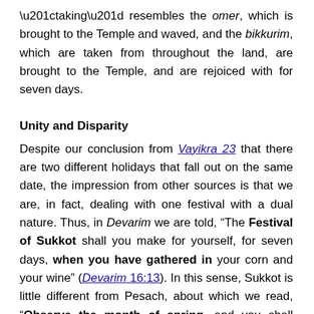“taking” resembles the omer, which is brought to the Temple and waved, and the bikkurim, which are taken from throughout the land, are brought to the Temple, and are rejoiced with for seven days.
Unity and Disparity
Despite our conclusion from Vayikra 23 that there are two different holidays that fall out on the same date, the impression from other sources is that we are, in fact, dealing with one festival with a dual nature. Thus, in Devarim we are told, “The Festival of Sukkot shall you make for yourself, for seven days, when you have gathered in your corn and your wine” (Devarim 16:13). In this sense, Sukkot is little different from Pesach, about which we read, “Observe the month of spring, and you shall make a Pesach unto the Lord your God,